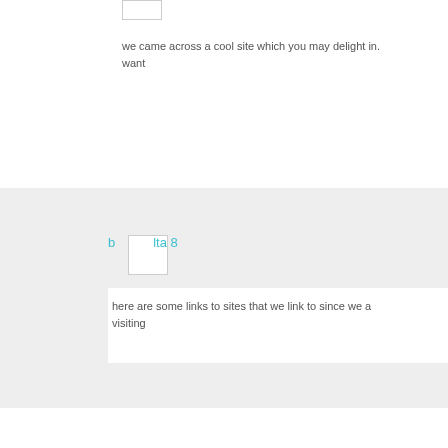we came across a cool site which you may delight in. want
b lta 8
here are some links to sites that we link to since we a visiting